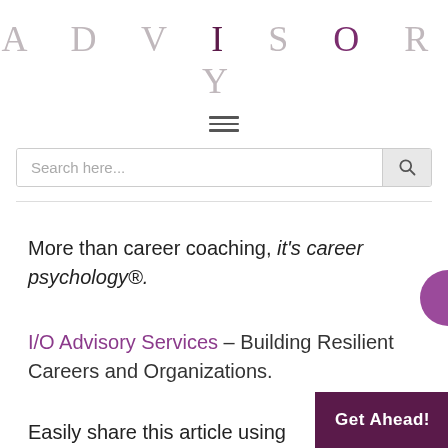ADVISORY
[Figure (other): Hamburger menu icon (three horizontal lines)]
[Figure (other): Search bar with magnifying glass icon]
More than career coaching, it's career psychology®.
I/O Advisory Services – Building Resilient Careers and Organizations.
Easily share this article using the social media icons below